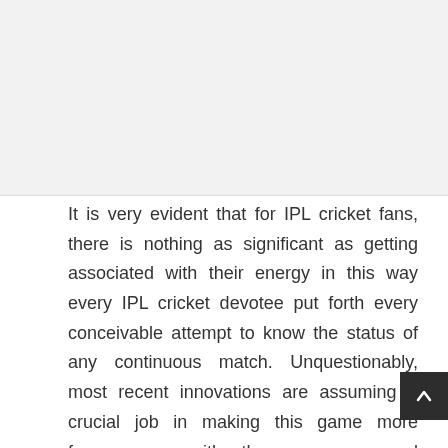[Figure (other): Advertisement or image placeholder area at top of page (light gray background)]
It is very evident that for IPL cricket fans, there is nothing as significant as getting associated with their energy in this way every IPL cricket devotee put forth every conceivable attempt to know the status of any continuous match. Unquestionably, most recent innovations are assuming a crucial job in making this game more famous, as with these ever-prepared modes IPL cricket fans are getting refreshed data without influencing their work routineand check the ip 2020 schedule and time. Truth is told, IPL cricket